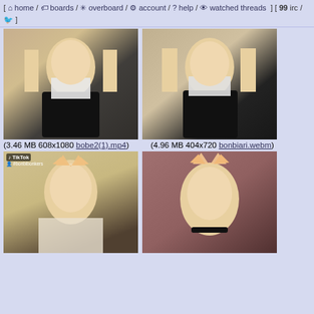[ home / boards / overboard / account / ? help / watched threads ] [ irc / y ]
[Figure (photo): Cosplay photo top-left: person in black latex outfit with white top and bunny ears, blonde hair]
[Figure (photo): Cosplay photo top-right: same person in black latex outfit, different pose]
(3.46 MB 608x1080 bobe2(1).mp4)
(4.96 MB 404x720 bonbiari.webm)
[Figure (photo): TikTok screenshot bottom-left: person in cat ear outfit, blonde hair, TikTok watermark @bonbibonkers]
[Figure (photo): Cosplay photo bottom-right: person with cat ears, blonde hair, black choker]